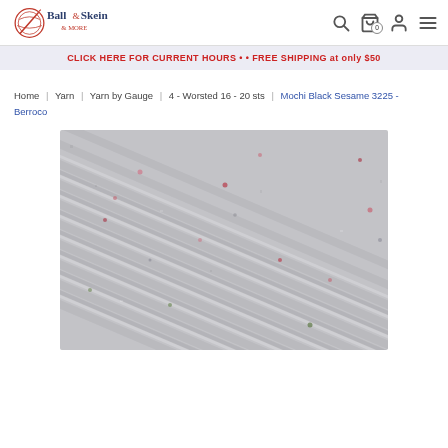Ball & Skein & More — navigation header with logo, search, cart, account, and menu icons
CLICK HERE FOR CURRENT HOURS • • FREE SHIPPING at only $50
Home | Yarn | Yarn by Gauge | 4 - Worsted 16 - 20 sts | Mochi Black Sesame 3225 - Berroco
[Figure (photo): Close-up photograph of gray speckled knit yarn texture showing the Berroco Mochi Black Sesame 3225 colorway — light gray base with tiny flecks of pink, red, green, and other colors woven throughout, photographed as a knitted swatch.]